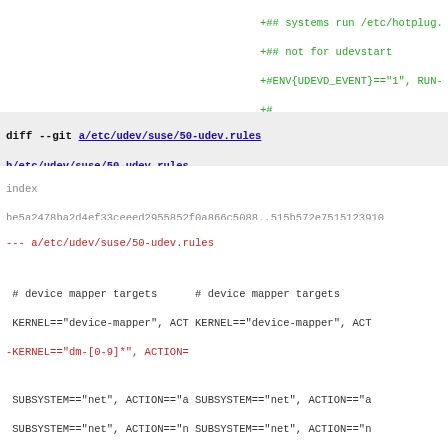+## systems run /etc/hotplug.
+## not for udevstart
+#ENV{UDEVD_EVENT}=="1", RUN-
+#
+## always run /etc/dev.d/ s
+#RUN+="/sbin/udev_run_devd"
+
diff --git a/etc/udev/suse/50-udev.rules b/etc/udev/suse/50-udev.rules
index
be5a2478ba2d4ef33ceeed2955852f0a866c5088..515b572e7515123910
100644 (file)
--- a/etc/udev/suse/50-udev.rules
+++ b/etc/udev/suse/50-udev.rules
@@ -185,7 +185,6 @@ KERNEL=="iseries/ibmsis*",    NAME="%k", G
# device mapper targets      # device mapper targets
 KERNEL=="device-mapper", ACT KERNEL=="device-mapper", ACT
-KERNEL=="dm-[0-9]*", ACTION=
 KERNEL=="dm-[0-9]*", ACTION= KERNEL=="dm-[0-9]*", ACTION=

 # persistent disk device lin # persistent disk device lin
@@ -235,8 +234,9 @@ KERNEL=="tun", NAME="net/%k", MODE="0600
SUBSYSTEM=="net", ACTION=="a SUBSYSTEM=="net", ACTION=="a
 SUBSYSTEM=="net", ACTION=="n SUBSYSTEM=="net", ACTION=="n

-# mount usbfs                +# libusb device access (mou
 DEVPATH=="/module/usbcore",  DEVPATH=="/module/usbcore",
                              +SUBSYSTEM="usb_device", PRO(

 # firmware loader            # firmware loader